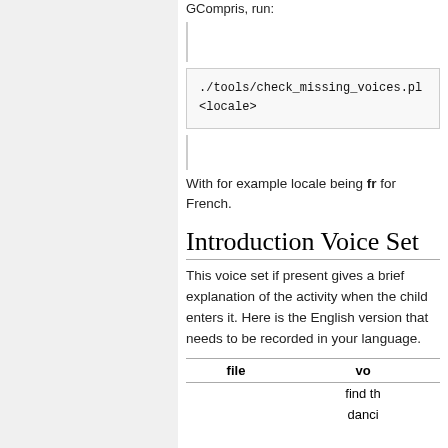GCompris, run:
(scroll indicator)
(scroll indicator)
With for example locale being fr for French.
Introduction Voice Set
This voice set if present gives a brief explanation of the activity when the child enters it. Here is the English version that needs to be recorded in your language.
| file | vo... |
| --- | --- |
| find th... |  |
| danci... |  |